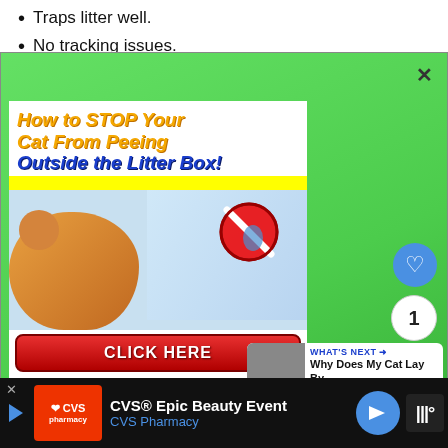Traps litter well.
No tracking issues.
[Figure (screenshot): Green modal overlay popup containing an advertisement banner for 'How to STOP Your Cat From Peeing Outside the Litter Box!' with an orange tabby cat image, a no-sign graphic, and a red CLICK HERE button. Modal has an X close button. Right side has heart/like button, count '1', and share button. Bottom-right shows 'WHAT'S NEXT' teaser 'Why Does My Cat Lay By...']
[Figure (screenshot): Bottom advertisement bar for CVS Epic Beauty Event / CVS Pharmacy with logo, navigation arrow, and media icon]